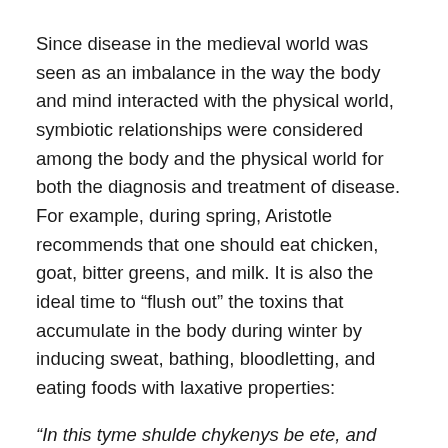Since disease in the medieval world was seen as an imbalance in the way the body and mind interacted with the physical world, symbiotic relationships were considered among the body and the physical world for both the diagnosis and treatment of disease. For example, during spring, Aristotle recommends that one should eat chicken, goat, bitter greens, and milk. It is also the ideal time to “flush out” the toxins that accumulate in the body during winter by inducing sweat, bathing, bloodletting, and eating foods with laxative properties:
“In this tyme shulde chykenys be ete, and kydes and eggis, soure letuse ºt men calle carlokis, and getis mylke. In this tyme is best to lete blood, for onys than is bettir than thre tymes an other tyme ; and it is good to travayle and to haue thi wombe soluble, and than it is